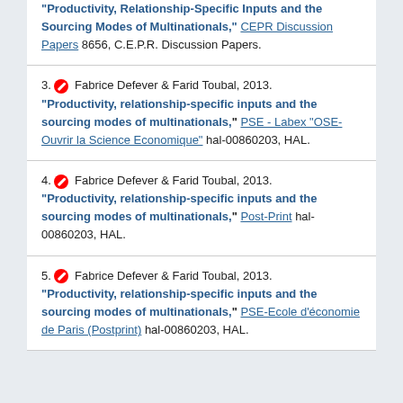"Productivity, Relationship-Specific Inputs and the Sourcing Modes of Multinationals," CEPR Discussion Papers 8656, C.E.P.R. Discussion Papers.
3. Fabrice Defever & Farid Toubal, 2013. "Productivity, relationship-specific inputs and the sourcing modes of multinationals," PSE - Labex "OSE-Ouvrir la Science Economique" hal-00860203, HAL.
4. Fabrice Defever & Farid Toubal, 2013. "Productivity, relationship-specific inputs and the sourcing modes of multinationals," Post-Print hal-00860203, HAL.
5. Fabrice Defever & Farid Toubal, 2013. "Productivity, relationship-specific inputs and the sourcing modes of multinationals," PSE-Ecole d'économie de Paris (Postprint) hal-00860203, HAL.